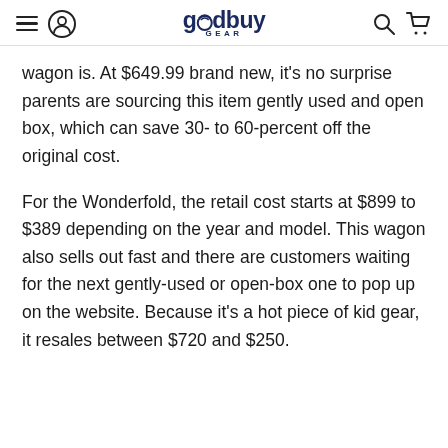goodbuy GEAR
wagon is. At $649.99 brand new, it's no surprise parents are sourcing this item gently used and open box, which can save 30- to 60-percent off the original cost.
For the Wonderfold, the retail cost starts at $899 to $389 depending on the year and model. This wagon also sells out fast and there are customers waiting for the next gently-used or open-box one to pop up on the website. Because it's a hot piece of kid gear, it resales between $720 and $250.